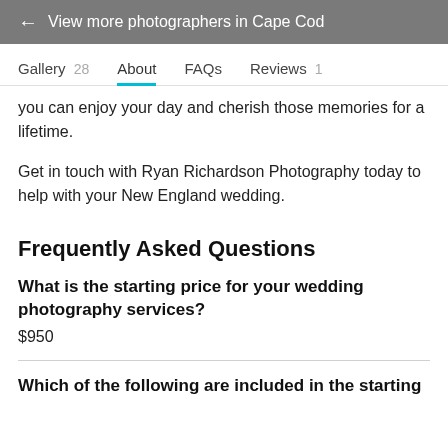← View more photographers in Cape Cod
Gallery 28   About   FAQs   Reviews 1
you can enjoy your day and cherish those memories for a lifetime.
Get in touch with Ryan Richardson Photography today to help with your New England wedding.
Frequently Asked Questions
What is the starting price for your wedding photography services?
$950
Which of the following are included in the starting